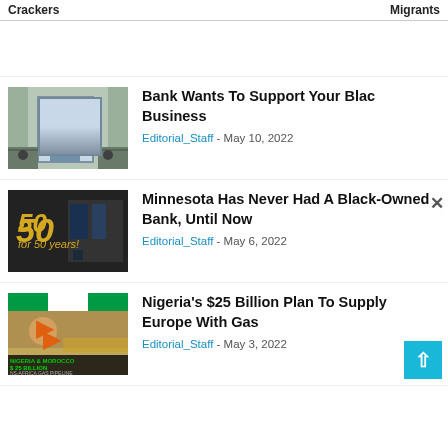Crackers   Migrants
[Figure (photo): Bank building exterior with glass doors and people walking outside]
Bank Wants To Support Your Black Business
Editorial_Staff - May 10, 2022
[Figure (photo): Two men in suits standing in front of a 50th anniversary banner]
Minnesota Has Never Had A Black-Owned Bank, Until Now
Editorial_Staff - May 6, 2022
[Figure (photo): News screenshot showing Nigeria & Morocco $25 Billion Africa Gas Pipeline]
Nigeria's $25 Billion Plan To Supply Europe With Gas
Editorial_Staff - May 3, 2022